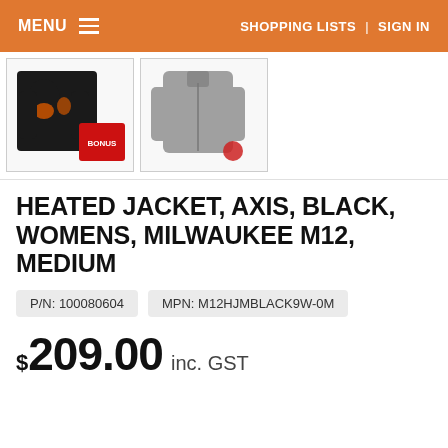MENU   SHOPPING LISTS  |  SIGN IN
[Figure (photo): Two product thumbnail images: left shows a black Milwaukee M12 heated jacket with bonus battery pack labeled BONUS; right shows a grey long-sleeve jacket with a small red accessory.]
HEATED JACKET, AXIS, BLACK, WOMENS, MILWAUKEE M12, MEDIUM
P/N: 100080604   MPN: M12HJMBLACK9W-0M
$209.00 inc. GST